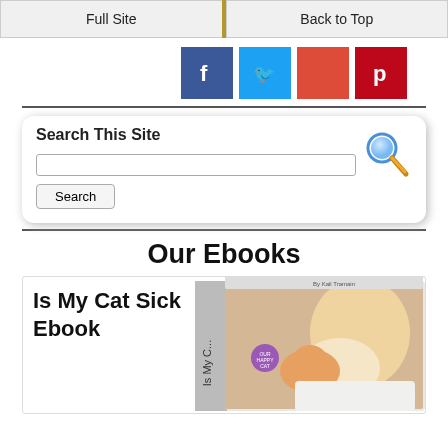Full Site | Back to Top
[Figure (illustration): Social media share buttons: Facebook, Twitter, Google+, Pinterest]
[Figure (screenshot): Search This Site widget with magnifying glass icon, text input field, and Search button]
Our Ebooks
[Figure (photo): Is My Cat Sick Ebook - book cover showing a person cuddling an orange cat, with 'Is My Ca...' text on spine and Our Happy Cat badge]